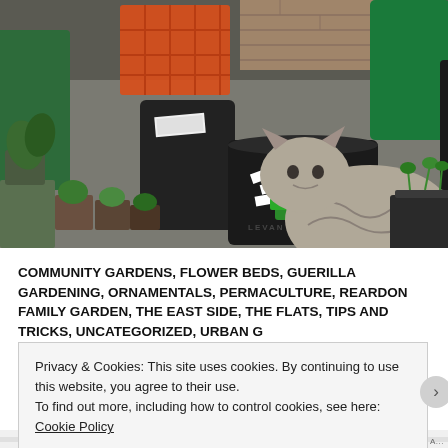[Figure (photo): A gray tabby cat sniffing or investigating a black bucket/container on a concrete surface surrounded by potted plants, black buckets, orange plastic crates, and green containers in what appears to be a garden or outdoor storage area.]
COMMUNITY GARDENS, FLOWER BEDS, GUERILLA GARDENING, ORNAMENTALS, PERMACULTURE, REARDON FAMILY GARDEN, THE EAST SIDE, THE FLATS, TIPS AND TRICKS, UNCATEGORIZED, URBAN G...
Privacy & Cookies: This site uses cookies. By continuing to use this website, you agree to their use.
To find out more, including how to control cookies, see here: Cookie Policy
Close and accept